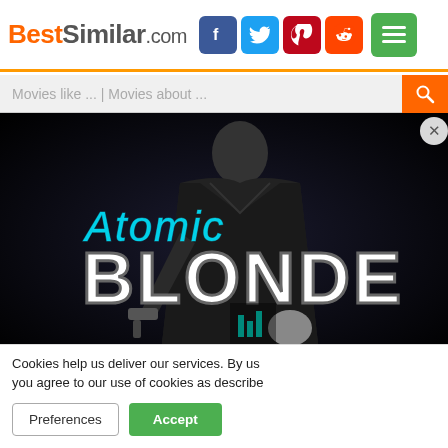BestSimilar.com
Movies like ... | Movies about ...
[Figure (photo): Atomic Blonde movie poster: dark background showing a figure in a black coat, with neon text 'Atomic Blonde' overlaid]
Cookies help us deliver our services. By us... you agree to our use of cookies as describe...
Preferences  Accept